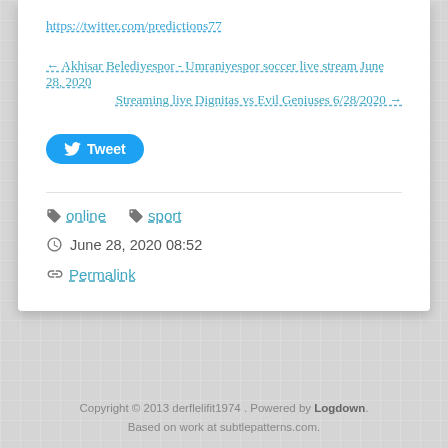https://twitter.com/predictions77
← Akhisar Belediyespor - Umraniyespor soccer live stream June 28, 2020
Streaming live Dignitas vs Evil Geniuses 6/28/2020 →
[Figure (other): Tweet button with Twitter bird icon]
online  sport
June 28, 2020 08:52
Permalink
Copyright © 2013 derflelifit1974 . Powered by Logdown. Based on work at subtlepatterns.com.